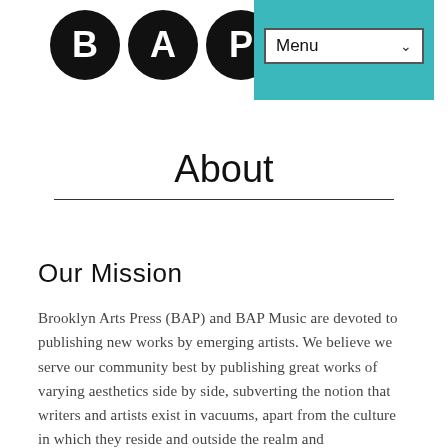[Figure (logo): Three black circles with white letters B, A, P forming the Brooklyn Arts Press logo]
[Figure (screenshot): Teal/cyan menu dropdown button with 'Menu' text and dropdown arrow, on a teal background]
About
Our Mission
Brooklyn Arts Press (BAP) and BAP Music are devoted to publishing new works by emerging artists. We believe we serve our community best by publishing great works of varying aesthetics side by side, subverting the notion that writers and artists exist in vacuums, apart from the culture in which they reside and outside the realm and understanding of other scenes and